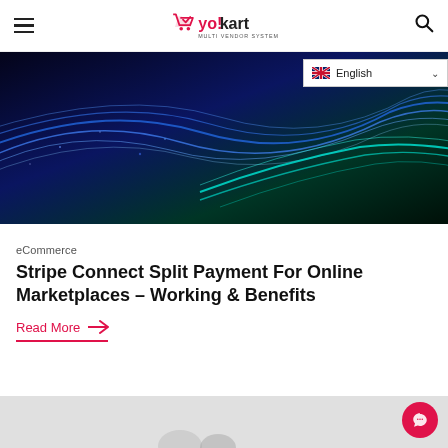yo!kart MULTI VENDOR SYSTEM
[Figure (photo): Dark background with glowing blue and cyan wave/light streak patterns — abstract digital technology image]
eCommerce
Stripe Connect Split Payment For Online Marketplaces – Working & Benefits
Read More →
[Figure (photo): Partial bottom image, appears to be a light gray background with some content partially visible]